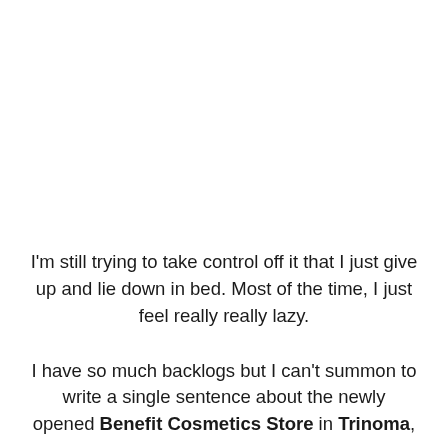I'm still trying to take control off it that I just give up and lie down in bed. Most of the time, I just feel really really lazy.
I have so much backlogs but I can't summon to write a single sentence about the newly opened Benefit Cosmetics Store in Trinoma,